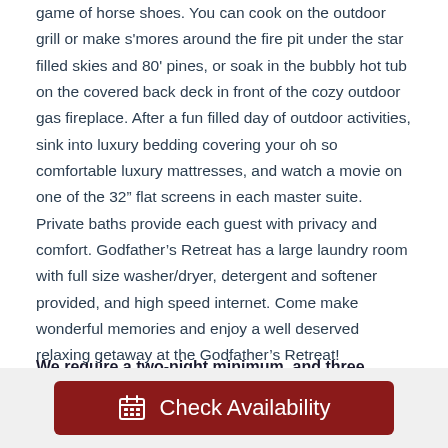game of horse shoes. You can cook on the outdoor grill or make s'mores around the fire pit under the star filled skies and 80' pines, or soak in the bubbly hot tub on the covered back deck in front of the cozy outdoor gas fireplace. After a fun filled day of outdoor activities, sink into luxury bedding covering your oh so comfortable luxury mattresses, and watch a movie on one of the 32" flat screens in each master suite. Private baths provide each guest with privacy and comfort. Godfather's Retreat has a large laundry room with full size washer/dryer, detergent and softener provided, and high speed internet. Come make wonderful memories and enjoy a well deserved relaxing getaway at the Godfather's Retreat! Check-in time is 4:00 pm. Check out time is 11:00 am.
We require a two-night minimum, and three nights during holidays.
Check Availability